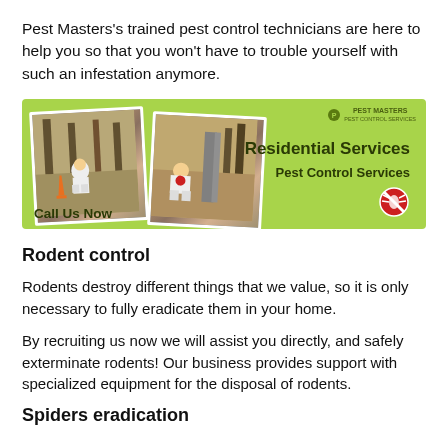Pest Masters's trained pest control technicians are here to help you so that you won't have to trouble yourself with such an infestation anymore.
[Figure (infographic): Green banner advertisement for Pest Masters Residential Services featuring two photos of pest control workers in white protective suits outdoors, a Pest Masters logo in the top right, text reading 'Residential Services' and 'Pest Control Services', a red no-pest icon, and 'Call Us Now' text at the bottom left.]
Rodent control
Rodents destroy different things that we value, so it is only necessary to fully eradicate them in your home.
By recruiting us now we will assist you directly, and safely exterminate rodents! Our business provides support with specialized equipment for the disposal of rodents.
Spiders eradication